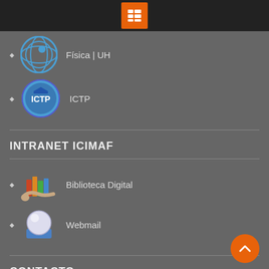[Figure (screenshot): Top navigation bar with orange hamburger/menu icon on dark background]
Física | UH
ICTP
INTRANET ICIMAF
Biblioteca Digital
Webmail
CONTACTO
Calle 15 #551 entre C y D, Vedado, Plaza de la